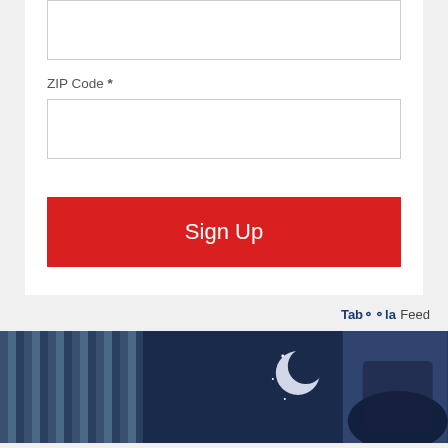ZIP Code *
Sign Up
[Figure (illustration): Taboola Feed banner with night sky illustration showing moon and stars, blue/dark blue tones]
[Figure (infographic): Social share icons: Facebook, Twitter, Email, Link]